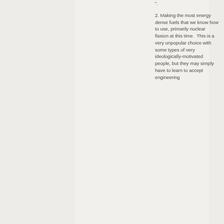".
2. Making the most energy dense fuels that we know how to use, primarily nuclear fission at this time.  This is a very unpopular choice with some types of very ideologically-motivated people, but they may simply have to learn to accept engineering